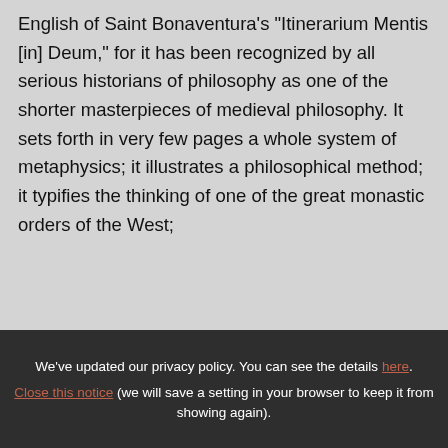English of Saint Bonaventura's "Itinerarium Mentis [in] Deum," for it has been recognized by all serious historians of philosophy as one of the shorter masterpieces of medieval philosophy. It sets forth in very few pages a whole system of metaphysics; it illustrates a philosophical method; it typifies the thinking of one of the great monastic orders of the West;
We've updated our privacy policy. You can see the details here. Close this notice (we will save a setting in your browser to keep it from showing again).